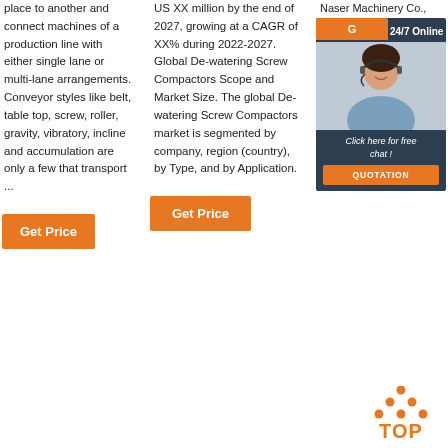place to another and connect machines of a production line with either single lane or multi-lane arrangements. Conveyor styles like belt, table top, screw, roller, gravity, vibratory, incline and accumulation are only a few that transport ...
Get Price
US XX million by the end of 2027, growing at a CAGR of XX% during 2022-2027. Global De-watering Screw Compactors Scope and Market Size. The global De-watering Screw Compactors market is segmented by company, region (country), by Type, and by Application.
Get Price
Naser Machinery Co., Ltd..
[Figure (infographic): 24/7 Online chat widget with dark navy background, orange header bar with 'G' visible, photo of female customer service agent with headset, 'Click here for free chat!' text, and orange QUOTATION button]
[Figure (other): Orange dots arranged in upward triangle pattern above bold orange 'TOP' text, serving as a back-to-top button]